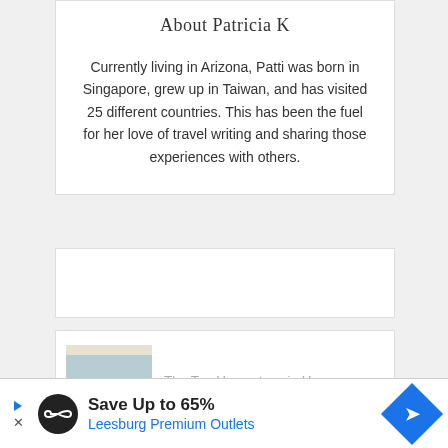About Patricia K
Currently living in Arizona, Patti was born in Singapore, grew up in Taiwan, and has visited 25 different countries. This has been the fuel for her love of travel writing and sharing those experiences with others.
[Figure (other): Empty white content box, likely a placeholder or advertisement widget]
[Figure (photo): Partial article card with a thumbnail image showing an interior ceiling/room and truncated title text: 'The Top Homestays in Ho']
The Top Homestays in Ho
[Figure (infographic): Advertisement banner: Save Up to 65% Leesburg Premium Outlets with circular logo and blue diamond arrow icon]